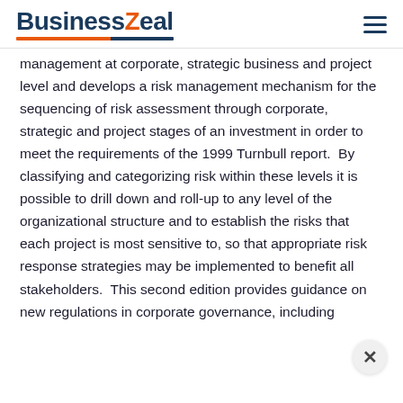BusinessZeal
management at corporate, strategic business and project level and develops a risk management mechanism for the sequencing of risk assessment through corporate, strategic and project stages of an investment in order to meet the requirements of the 1999 Turnbull report.  By classifying and categorizing risk within these levels it is possible to drill down and roll-up to any level of the organizational structure and to establish the risks that each project is most sensitive to, so that appropriate risk response strategies may be implemented to benefit all stakeholders.  This second edition provides guidance on new regulations in corporate governance, including